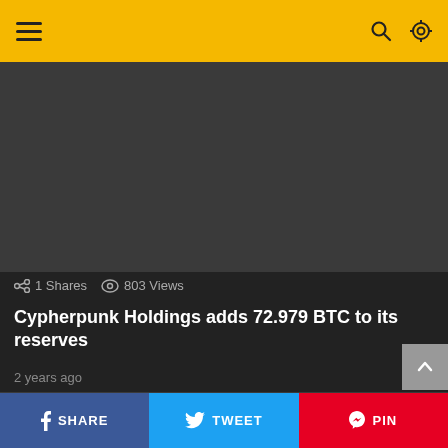[Figure (screenshot): Dark gray placeholder image box at top of article]
1 Shares  803 Views
Cypherpunk Holdings adds 72.979 BTC to its reserves
2 years ago
[Figure (photo): Broken image placeholder showing alt text: bitcoin's-price-correction-may-not-be-over,-on-chain-data-analysts-warn]
SHARE  TWEET  PIN